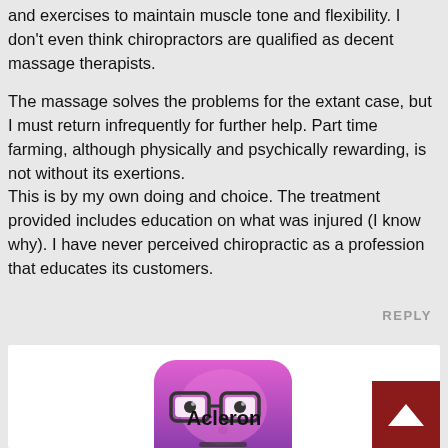and exercises to maintain muscle tone and flexibility. I don't even think chiropractors are qualified as decent massage therapists.
The massage solves the problems for the extant case, but I must return infrequently for further help. Part time farming, although physically and psychically rewarding, is not without its exertions.
This is by my own doing and choice. The treatment provided includes education on what was injured (I know why). I have never perceived chiropractic as a profession that educates its customers.
REPLY
[Figure (illustration): Avatar image of user Acleron: a pink/purple rounded square character with glasses and a neutral expression]
Acleron